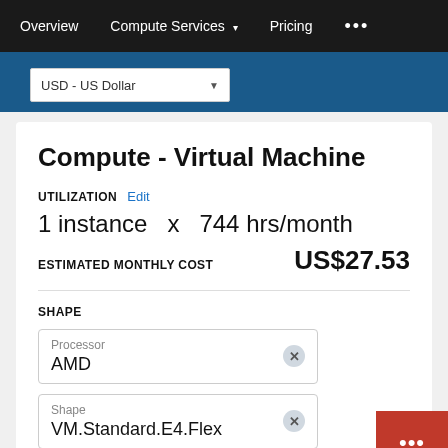Overview   Compute Services ▾   Pricing   •••
USD - US Dollar
Compute - Virtual Machine
UTILIZATION  Edit
1 instance  x  744 hrs/month
ESTIMATED MONTHLY COST   US$27.53
SHAPE
Processor
AMD
Shape
VM.Standard.E4.Flex